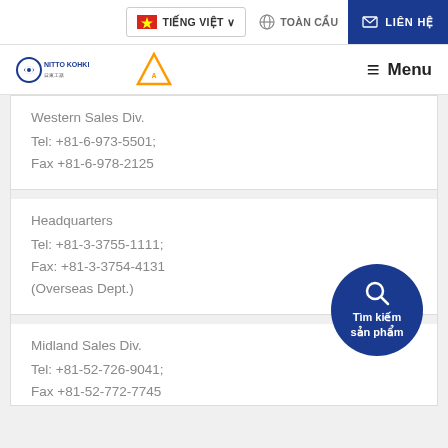TIẾNG VIỆT | TOÀN CẦU | LIÊN HỆ
[Figure (logo): Nitto Kohki logo and Anphat logo with Menu button]
Western Sales Div.
Tel: +81-6-973-5501;
Fax +81-6-978-2125
Headquarters
Tel: +81-3-3755-1111;
Fax: +81-3-3754-4131
(Overseas Dept.)
[Figure (illustration): Blue circle with magnifying glass icon and Vietnamese text: Tìm kiếm sản phẩm]
Midland Sales Div.
Tel: +81-52-726-9041;
Fax: +81-52-772-7745